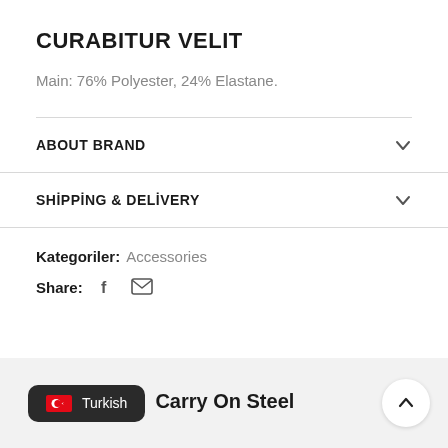CURABITUR VELIT
Main: 76% Polyester, 24% Elastane.
ABOUT BRAND
SHİPPİNG & DELİVERY
Kategoriler: Accessories
Share: [facebook icon] [email icon]
Turkish | Carry On Steel